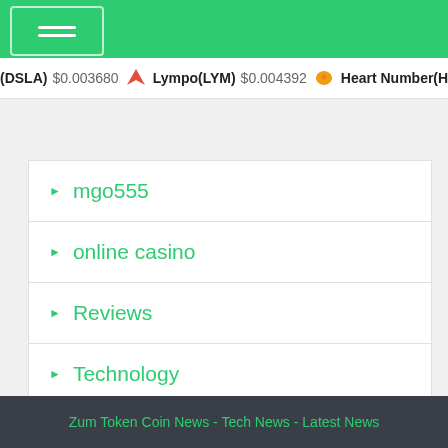(DSLA) $0.003680  Lympo(LYM) $0.004392  Heart Number(H
mgo555
online casino
Reviews
Technology
казино
Zum Token Coin News - Tech News - Latest News